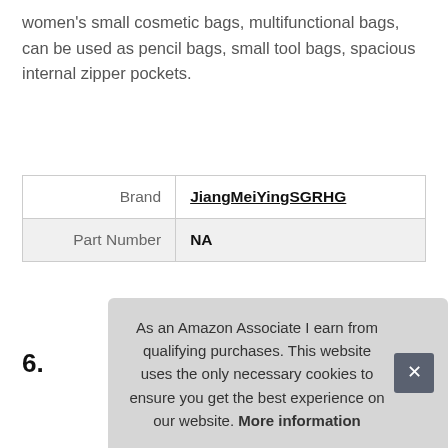women's small cosmetic bags, multifunctional bags, can be used as pencil bags, small tool bags, spacious internal zipper pockets.
| Brand | JiangMeiYingSGRHG |
| Part Number | NA |
More information
6.
As an Amazon Associate I earn from qualifying purchases. This website uses the only necessary cookies to ensure you get the best experience on our website. More information